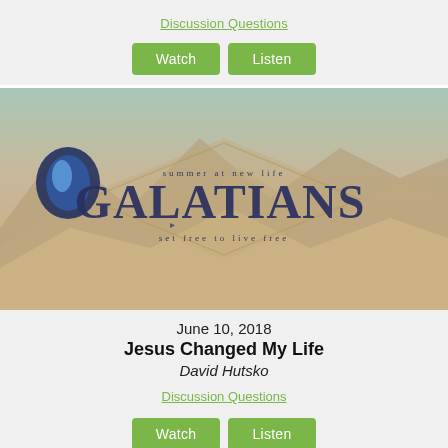Discussion Questions
Watch | Listen
[Figure (illustration): Galatians sermon series banner image with desert landscape background, logo, text 'summer at new life GALATIANS set free to live free']
June 10, 2018
Jesus Changed My Life
David Hutsko
Discussion Questions
Watch | Listen